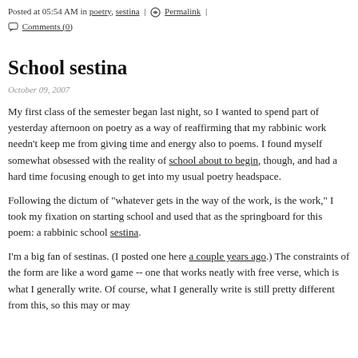Posted at 05:54 AM in poetry, sestina | Permalink | Comments (0)
School sestina
October 09, 2007
My first class of the semester began last night, so I wanted to spend part of yesterday afternoon on poetry as a way of reaffirming that my rabbinic work needn't keep me from giving time and energy also to poems. I found myself somewhat obsessed with the reality of school about to begin, though, and had a hard time focusing enough to get into my usual poetry headspace.
Following the dictum of "whatever gets in the way of the work, is the work," I took my fixation on starting school and used that as the springboard for this poem: a rabbinic school sestina.
I'm a big fan of sestinas. (I posted one here a couple years ago.) The constraints of the form are like a word game -- one that works neatly with free verse, which is what I generally write. Of course, what I generally write is still pretty different from this, so this may or may